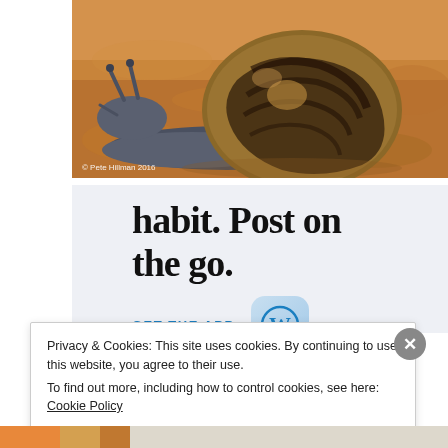[Figure (photo): Close-up photograph of a garden snail with a dark patterned shell on an orange/sandy surface. Photo credit: © Pete Hillman 2016]
[Figure (screenshot): WordPress mobile app advertisement banner with text 'habit. Post on the go.' and a GET THE APP call-to-action with WordPress logo icon]
Privacy & Cookies: This site uses cookies. By continuing to use this website, you agree to their use.
To find out more, including how to control cookies, see here: Cookie Policy
Close and accept